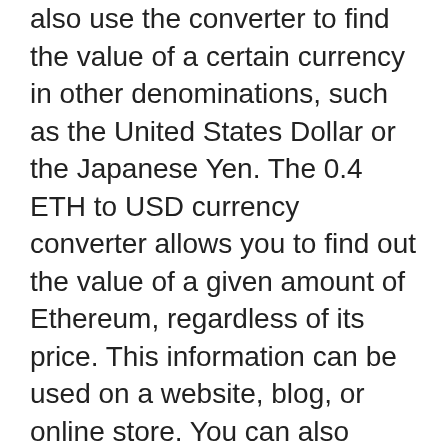also use the converter to find the value of a certain currency in other denominations, such as the United States Dollar or the Japanese Yen. The 0.4 ETH to USD currency converter allows you to find out the value of a given amount of Ethereum, regardless of its price. This information can be used on a website, blog, or online store. You can also share the result of your currency conversion with your friends and fellow crypto enthusiasts. But beware! Exchange rates can change at any time and are not guaranteed. Before you convert ETH to USD, check the information on your exchange rate converter carefully.
1.93 eth to usd
If you want to convert 1.93 Ethereum to USD, you should first check out the current price of ETH in the United States. After you've seen the price